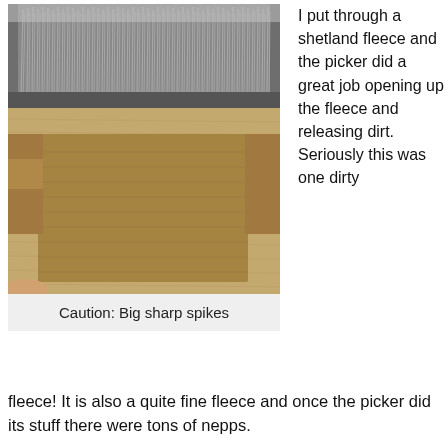[Figure (photo): Close-up photograph of a wool picker or drum carder showing large sharp metal spikes on a wooden frame device. The spikes are metallic and densely arranged at the top, with a wooden tray/drum below.]
Caution: Big sharp spikes
I put through a shetland fleece and the picker did a great job opening up the fleece and releasing dirt. Seriously this was one dirty fleece! It is also a quite fine fleece and once the picker did its stuff there were tons of nepps.